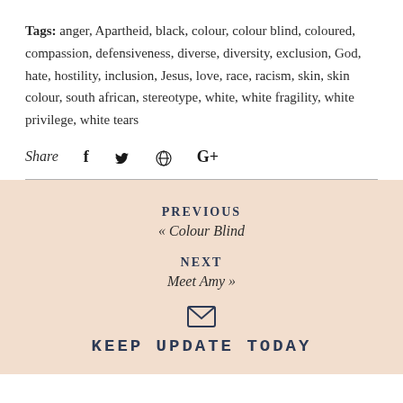Tags: anger, Apartheid, black, colour, colour blind, coloured, compassion, defensiveness, diverse, diversity, exclusion, God, hate, hostility, inclusion, Jesus, love, race, racism, skin, skin colour, south african, stereotype, white, white fragility, white privilege, white tears
Share [social icons: facebook, twitter, pinterest, google+]
PREVIOUS
« Colour Blind
NEXT
Meet Amy »
KEEP UPDATE TODAY